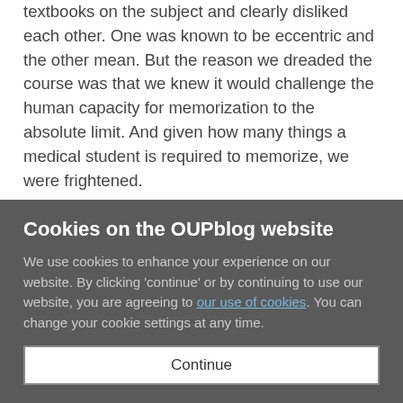textbooks on the subject and clearly disliked each other. One was known to be eccentric and the other mean. But the reason we dreaded the course was that we knew it would challenge the human capacity for memorization to the absolute limit. And given how many things a medical student is required to memorize, we were frightened.
The brain is comprised of about 80 billion neurons and an equal number of three other types of cells: astroglial cells, oligodendroglial cells, and microglial cells. The neurons send out processes called axons that connect with dendrites
Cookies on the OUPblog website
We use cookies to enhance your experience on our website. By clicking 'continue' or by continuing to use our website, you are agreeing to our use of cookies. You can change your cookie settings at any time.